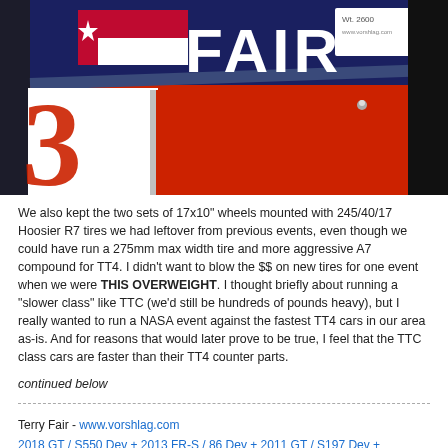[Figure (photo): Close-up photo of a red and blue race car with 'FAIR' lettering on the roof/windshield area, Texas flag graphic, and a weight sticker reading 'Wt. 2600' on the glass.]
We also kept the two sets of 17x10" wheels mounted with 245/40/17 Hoosier R7 tires we had leftover from previous events, even though we could have run a 275mm max width tire and more aggressive A7 compound for TT4. I didn't want to blow the $$ on new tires for one event when we were THIS OVERWEIGHT. I thought briefly about running a "slower class" like TTC (we'd still be hundreds of pounds heavy), but I really wanted to run a NASA event against the fastest TT4 cars in our area as-is. And for reasons that would later prove to be true, I feel that the TTC class cars are faster than their TT4 counter parts.
continued below
Terry Fair - www.vorshlag.com
2018 GT / S550 Dev + 2013 FR-S / 86 Dev + 2011 GT / S197 Dev + C4 Corvette Dev